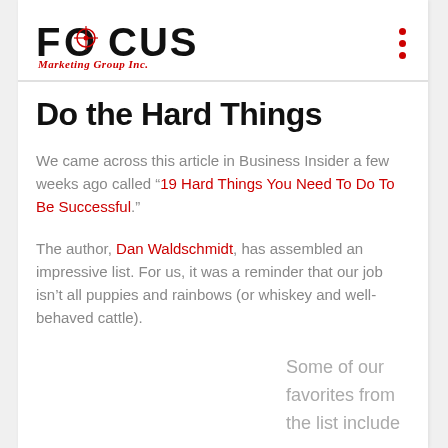FOCUS Marketing Group Inc.
Do the Hard Things
We came across this article in Business Insider a few weeks ago called “19 Hard Things You Need To Do To Be Successful.”
The author, Dan Waldschmidt, has assembled an impressive list. For us, it was a reminder that our job isn’t all puppies and rainbows (or whiskey and well-behaved cattle).
Some of our favorites from the list include